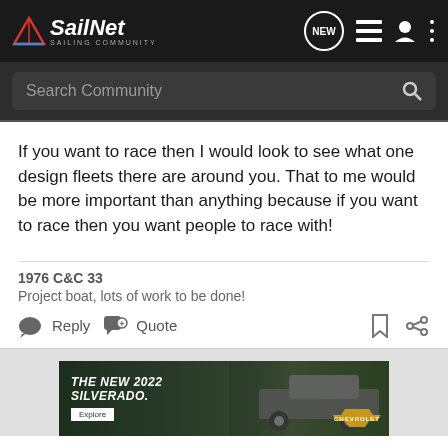SailNet - Sailing Community
If you want to race then I would look to see what one design fleets there are around you. That to me would be more important than anything because if you want to race then you want people to race with!
1976 C&C 33
Project boat, lots of work to be done!
Reply   Quote
[Figure (photo): Chevrolet advertisement banner showing The New 2022 Silverado truck with Explore button and Chevrolet logo]